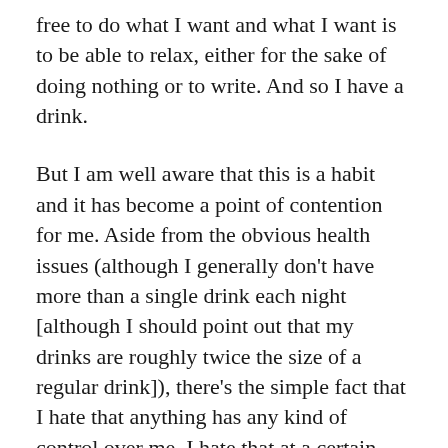free to do what I want and what I want is to be able to relax, either for the sake of doing nothing or to write. And so I have a drink.
But I am well aware that this is a habit and it has become a point of contention for me. Aside from the obvious health issues (although I generally don't have more than a single drink each night [although I should point out that my drinks are roughly twice the size of a regular drink]), there's the simple fact that I hate that anything has any kind of control over me. I hate that at a certain point during the night I want to have a drink and I have to fight with myself about it.
I recently got sick yet again, so I went weeks